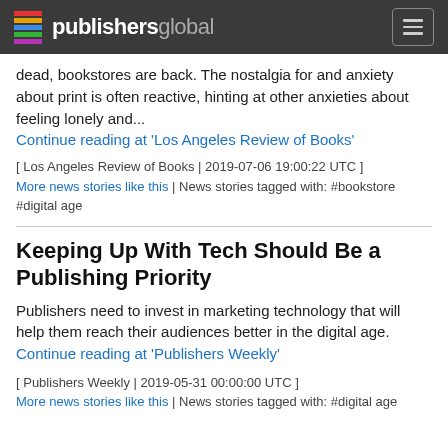publishersglobal
dead, bookstores are back. The nostalgia for and anxiety about print is often reactive, hinting at other anxieties about feeling lonely and… Continue reading at 'Los Angeles Review of Books'
[ Los Angeles Review of Books | 2019-07-06 19:00:22 UTC ] More news stories like this | News stories tagged with: #bookstore #digital age
Keeping Up With Tech Should Be a Publishing Priority
Publishers need to invest in marketing technology that will help them reach their audiences better in the digital age. Continue reading at 'Publishers Weekly'
[ Publishers Weekly | 2019-05-31 00:00:00 UTC ] More news stories like this | News stories tagged with: #digital age